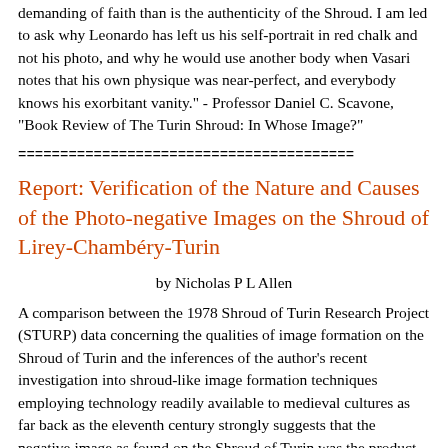demanding of faith than is the authenticity of the Shroud. I am led to ask why Leonardo has left us his self-portrait in red chalk and not his photo, and why he would use another body when Vasari notes that his own physique was near-perfect, and everybody knows his exorbitant vanity." - Professor Daniel C. Scavone, "Book Review of The Turin Shroud: In Whose Image?"
========================================
Report: Verification of the Nature and Causes of the Photo-negative Images on the Shroud of Lirey-Chambéry-Turin
by Nicholas P L Allen
A comparison between the 1978 Shroud of Turin Research Project (STURP) data concerning the qualities of image formation on the Shroud of Turin and the inferences of the author's recent investigation into shroud-like image formation techniques employing technology readily available to medieval cultures as far back as the eleventh century strongly suggests that the negative image as found on the Shroud of Turin was the product of a form of primitive photography employing either silver nitrate or silver